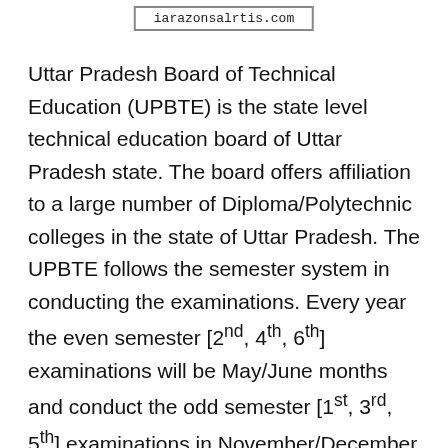iarazonsalrtis.com
Uttar Pradesh Board of Technical Education (UPBTE) is the state level technical education board of Uttar Pradesh state. The board offers affiliation to a large number of Diploma/Polytechnic colleges in the state of Uttar Pradesh. The UPBTE follows the semester system in conducting the examinations. Every year the even semester [2nd, 4th, 6th] examinations will be May/June months and conduct the odd semester [1st, 3rd, 5th] examinations in November/December months. Students pursuing in various affiliated colleges of UPBTE will take part in the academic